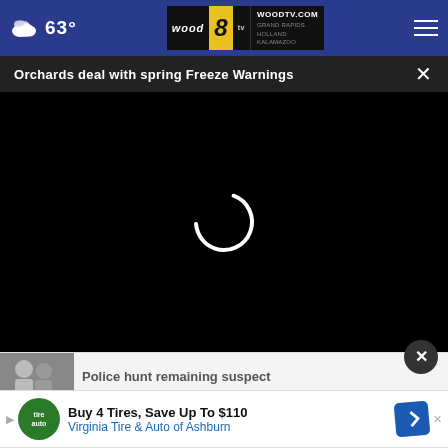63° — WOODTV.COM GRAND RAPIDS HOLLAND KALAMAZOO
Orchards deal with spring Freeze Warnings
[Figure (screenshot): Video player loading screen — black background with spinning loading indicator (white partial circle)]
Police hunt remaining suspect
GR businesses open on Labor Day see
Buy 4 Tires, Save Up To $110 Virginia Tire & Auto of Ashburn